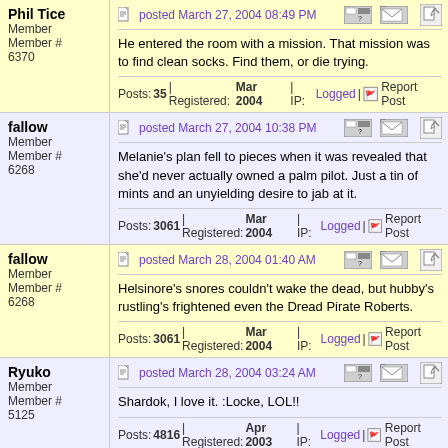Phil Tice | Member | Member # 6370 | posted March 27, 2004 08:49 PM | He entered the room with a mission. That mission was to find clean socks. Find them, or die trying. | Posts: 35 | Registered: Mar 2004 | IP: Logged | Report Post
fallow | Member | Member # 6268 | posted March 27, 2004 10:38 PM | Melanie's plan fell to pieces when it was revealed that she'd never actually owned a palm pilot. Just a tin of mints and an unyielding desire to jab at it. | Posts: 3061 | Registered: Mar 2004 | IP: Logged | Report Post
fallow | Member | Member # 6268 | posted March 28, 2004 01:40 AM | Helsinore's snores couldn't wake the dead, but hubby's rustling's frightened even the Dread Pirate Roberts. | Posts: 3061 | Registered: Mar 2004 | IP: Logged | Report Post
Ryuko | Member | Member # 5125 | posted March 28, 2004 03:24 AM | Shardok, I love it. :Locke, LOL!! | Posts: 4816 | Registered: Apr 2003 | IP: Logged | Report Post
fallow | Member | Member # | posted March 28, 2004 03:33 AM